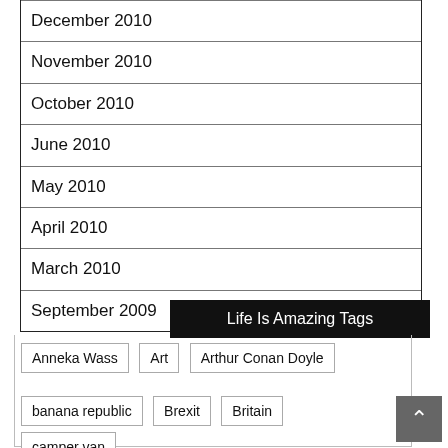December 2010
November 2010
October 2010
June 2010
May 2010
April 2010
March 2010
September 2009
Life Is Amazing Tags
Anneka Wass
Art
Arthur Conan Doyle
banana republic
Brexit
Britain
camper van